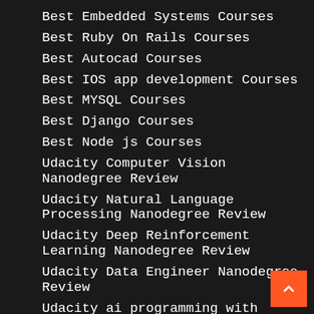Best Embedded Systems Courses
Best Ruby On Rails Courses
Best Autocad Courses
Best IOS app development Courses
Best MYSQL Courses
Best Django Courses
Best Node js Courses
Udacity Computer Vision Nanodegree Review
Udacity Natural Language Processing Nanodegree Review
Udacity Deep Reinforcement Learning Nanodegree Review
Udacity Data Engineer Nanodegree Review
Udacity ai programming with python Nanodegree Review
Udacity Blockchain Developer Nanodegree Review
Udacity AI Product Manager Nanodegree Review
Udacity Search Engine Engineer Nanodegree Review